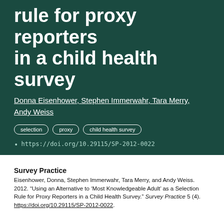rule for proxy reporters in a child health survey
Donna Eisenhower, Stephen Immerwahr, Tara Merry, Andy Weiss
selection
proxy
child health survey
https://doi.org/10.29115/SP-2012-0022
Survey Practice
Eisenhower, Donna, Stephen Immerwahr, Tara Merry, and Andy Weiss. 2012. “Using an Alternative to ‘Most Knowledgeable Adult’ as a Selection Rule for Proxy Reporters in a Child Health Survey.” Survey Practice 5 (4). https://doi.org/10.29115/SP-2012-0022.